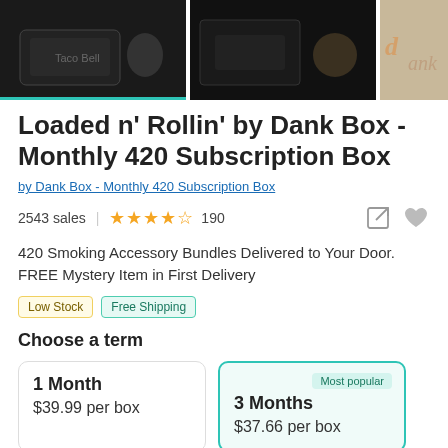[Figure (photo): Three product images in a strip: left shows a dark tray with accessories (teal border), middle shows a dark background with accessories, right shows a light beige background with items]
Loaded n' Rollin' by Dank Box - Monthly 420 Subscription Box
by Dank Box - Monthly 420 Subscription Box
2543 sales | ★★★★½ 190
420 Smoking Accessory Bundles Delivered to Your Door. FREE Mystery Item in First Delivery
Low Stock   Free Shipping
Choose a term
| Term | Price |
| --- | --- |
| 1 Month | $39.99 per box |
| 3 Months | $37.66 per box |